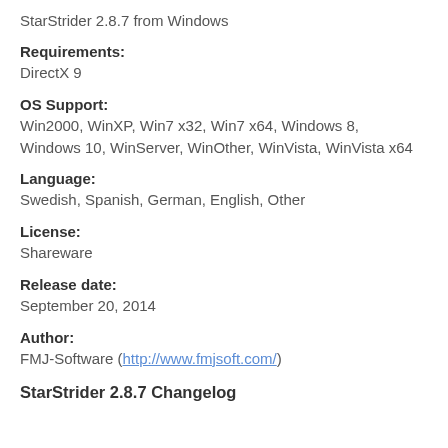StarStrider 2.8.7 from Windows
Requirements:
DirectX 9
OS Support:
Win2000, WinXP, Win7 x32, Win7 x64, Windows 8, Windows 10, WinServer, WinOther, WinVista, WinVista x64
Language:
Swedish, Spanish, German, English, Other
License:
Shareware
Release date:
September 20, 2014
Author:
FMJ-Software (http://www.fmjsoft.com/)
StarStrider 2.8.7 Changelog